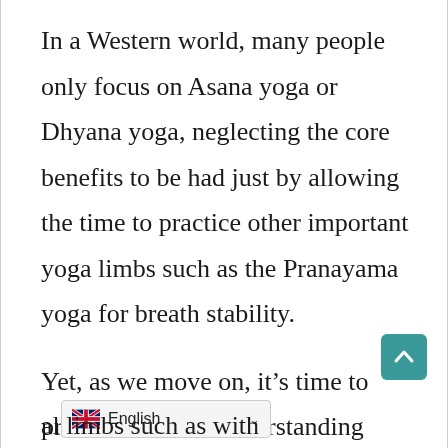In a Western world, many people only focus on Asana yoga or Dhyana yoga, neglecting the core benefits to be had just by allowing the time to practice other important yoga limbs such as the Pranayama yoga for breath stability.
Yet, as we move on, it’s time to provide time for understanding how the importance of yoga reaches through e[...]al limbs such as with